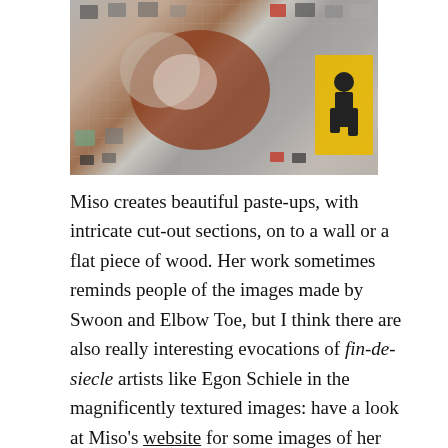[Figure (photo): A street art mural on a brick wall featuring a large stylized figure with a heart shape, surrounded by small framed artworks/photos arranged across the wall. A yellow panel with a dark silhouette figure is visible on the right.]
Miso creates beautiful paste-ups, with intricate cut-out sections, on to a wall or a flat piece of wood. Her work sometimes reminds people of the images made by Swoon and Elbow Toe, but I think there are also really interesting evocations of fin-de-siecle artists like Egon Schiele in the magnificently textured images: have a look at Miso's website for some images of her work.
Ghostpatrol and Miso work both individually and together, and have made paste-ups from photographs of themselves wearing fox masks to disguise their identities – hundreds of these paste-ups appeared around certain areas of Melbourne for a while, a wonderful expression of the street artist as fox (a creature of